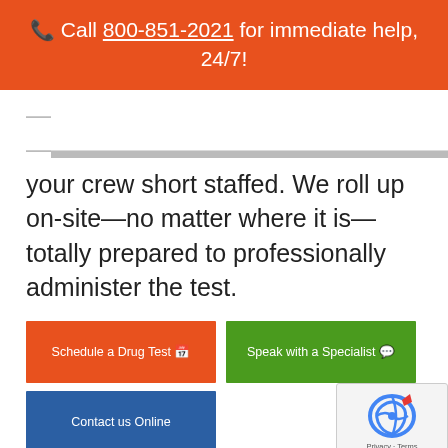📞 Call 800-851-2021 for immediate help, 24/7!
your crew short staffed. We roll up on-site—no matter where it is—totally prepared to professionally administer the test.
Schedule a Drug Test 📅
Speak with a Specialist 💬
Contact us Online